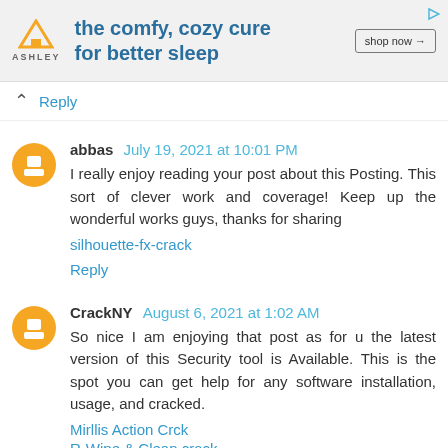[Figure (screenshot): Ashley Furniture advertisement banner: orange triangle house logo, text 'the comfy, cozy cure for better sleep', 'shop now →' button, play arrow icon top right]
Reply
abbas July 19, 2021 at 10:01 PM
I really enjoy reading your post about this Posting. This sort of clever work and coverage! Keep up the wonderful works guys, thanks for sharing
silhouette-fx-crack
Reply
CrackNY August 6, 2021 at 1:02 AM
So nice I am enjoying that post as for u the latest version of this Security tool is Available. This is the spot you can get help for any software installation, usage, and cracked.
Mirllis Action Crck
R-Wipe & Clean crack